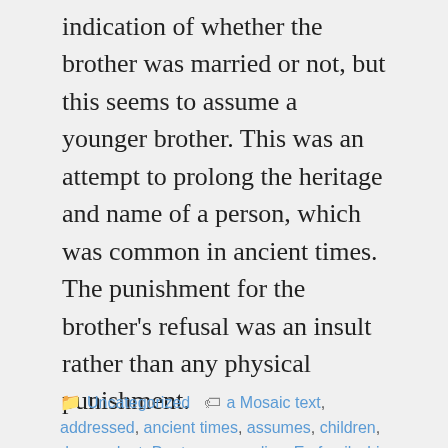indication of whether the brother was married or not, but this seems to assume a younger brother. This was an attempt to prolong the heritage and name of a person, which was common in ancient times.  The punishment for the brother's refusal was an insult rather than any physical punishment.
Uncategorized   a Mosaic text, addressed, ancient times, assumes, children, descendant, Deuteronomy, dies, Er, family, his wife, insult, Jesus, Judah's sons, levirate law, lived close by, Luke, man's brother, Mark, married, marry,
Privacy & Cookies: This site uses cookies. By continuing to use this website, you agree to their use. To find out more, including how to control cookies, see here: Cookie Policy
Close and accept